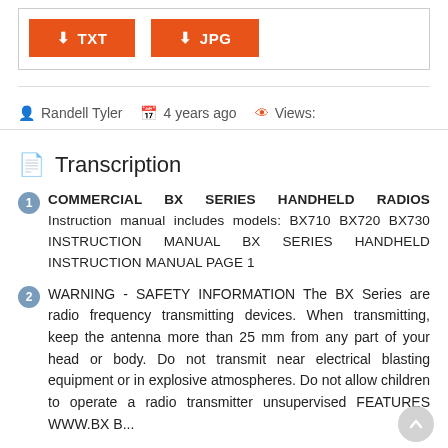[Figure (screenshot): Two orange download buttons labeled TXT and JPG with download icons]
Randell Tyler   4 years ago   Views:
Transcription
COMMERCIAL BX SERIES HANDHELD RADIOS Instruction manual includes models: BX710 BX720 BX730 INSTRUCTION MANUAL BX SERIES HANDHELD INSTRUCTION MANUAL PAGE 1
WARNING - SAFETY INFORMATION The BX Series are radio frequency transmitting devices. When transmitting, keep the antenna more than 25 mm from any part of your head or body. Do not transmit near electrical blasting equipment or in explosive atmospheres. Do not allow children to operate a radio transmitter unsupervised FEATURES WWW.BX BrownBX710 WWW.BX S